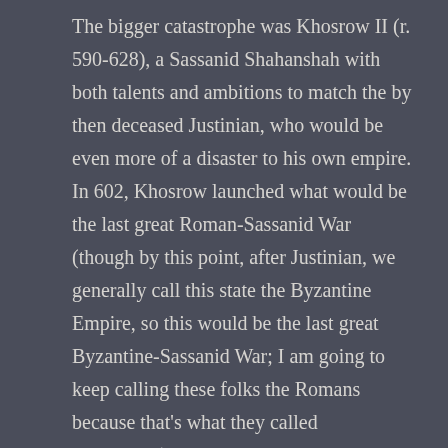The bigger catastrophe was Khosrow II (r. 590-628), a Sassanid Shahanshah with both talents and ambitions to match the by then deceased Justinian, who would be even more of a disaster to his own empire. In 602, Khosrow launched what would be the last great Roman-Sassanid War (though by this point, after Justinian, we generally call this state the Byzantine Empire, so this would be the last great Byzantine-Sassanid War; I am going to keep calling these folks the Romans because that's what they called themselves). Khosrow was initially fantastically successful, overrunning much of the Eastern Roman Empire and even laying siege to Constantinople in 626 but then the tide turned catastrophically against him. Khosrow II was killed in a mutiny which sparked civil war in the Sassanid Empire